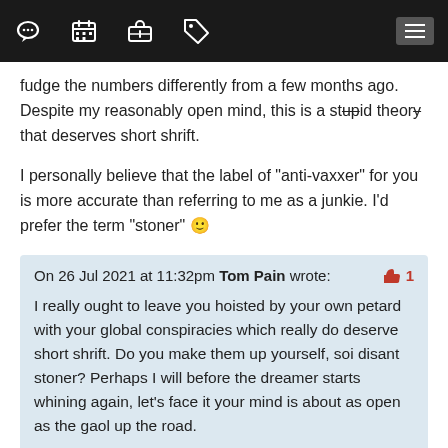Navigation bar with icons: chat, calendar, briefcase, tag, hamburger menu
fudge the numbers differently from a few months ago. Despite my reasonably open mind, this is a stupid theory that deserves short shrift.
I personally believe that the label of "anti-vaxxer" for you is more accurate than referring to me as a junkie. I'd prefer the term "stoner" 🙂
On 26 Jul 2021 at 11:32pm Tom Pain wrote: [like: 1] I really ought to leave you hoisted by your own petard with your global conspiracies which really do deserve short shrift. Do you make them up yourself, soi disant stoner? Perhaps I will before the dreamer starts whining again, let's face it your mind is about as open as the gaol up the road.
On 29 Jul 2021 at 2:34pm Green Sleeves wrote: [like: 5]